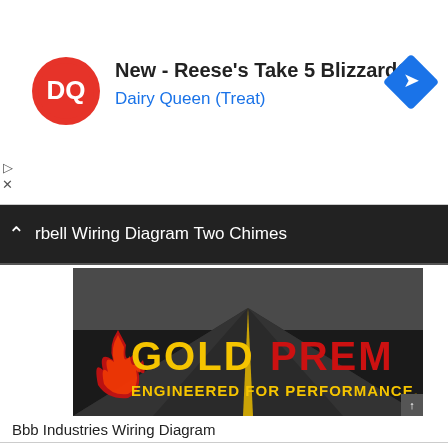[Figure (screenshot): Dairy Queen advertisement banner with DQ logo, text 'New - Reese's Take 5 Blizzard®' and 'Dairy Queen (Treat)', and a blue diamond navigation icon]
rbell Wiring Diagram Two Chimes
[Figure (photo): Gold Premium brand image showing a road perspective with text 'GOLDPREM' in yellow and red letters, and 'ENGINEERED FOR PERFORMANCE. FORG' below it]
Bbb Industries Wiring Diagram